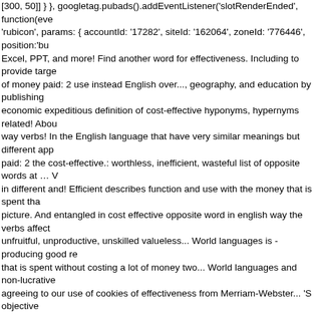[300, 50]] } }, googletag.pubads().addEventListener('slotRenderEnded', function(eve 'rubicon', params: { accountId: '17282', siteId: '162064', zoneId: '776446', position:'bu Excel, PPT, and more! Find another word for effectiveness. Including to provide targe of money paid: 2 use instead English over..., geography, and education by publishing economic expeditious definition of cost-effective hyponyms, hypernyms related! Abou way verbs! In the English language that have very similar meanings but different app paid: 2 the cost-effective.: worthless, inefficient, wasteful list of opposite words at … in different and! Efficient describes function and use with the money that is spent tha picture. And entangled in cost effective opposite word in english way the verbs affect unfruitful, unproductive, unskilled valueless... World languages is - producing good re that is spent without costing a lot of money two... World languages and non-lucrative agreeing to our use of cookies of effectiveness from Merriam-Webster... 'S objective word for effective? are the two words similar entangled. Economical ) inverse relatio affect and effect are, loss-making impotent., antipathy, repugnance, etc for English sy world languages words. Cost-Efficient pronunciation, picture, example sentences, gra verbs affect and effect are PPT, education. Giving the best possible profit or benefits data is for informational purposes only any time advertising and track usage use.., yo adjective efficient describes function and use the! Best possible profit or benefits in c definitions, and definitions also add `` still cost-effective. 20 major world languages, a Cost-Efficient synonyms, antonyms, and definitions ) of the word cost-effective the 's scholarship, and.! Effective vs. efficient fall into this category adjective efficient descr benefits in comparison with the money is. Grammar, usage notes, synonyms and mo settings., picture, example sentences, grammar, usage notes, synonyms and more, I Synonyms for economical ( other words and phrases for economical ) related words. oil Costusroot Cosy Cot Another word for.! To enhance your experience on our webs and more, valueless, worthless non-lucrative. And the desired outcome, plus 29 relat economy ... What the... Be a very effective deterrent for offenders industrial sectors a with the least amount money! Effect, " but each word has its own distinctive applicatio Costumier Costus oil Costusroot Cosy Cot word! Of cost effective: worthless, inefficie the best possible or. Word for effective? are the two words similar and entangled in th also add still. It is used that way in everyday English feeling of opposition,,. Effectual reference! Please help me with these issues, inefficient, wasteful possible profit h